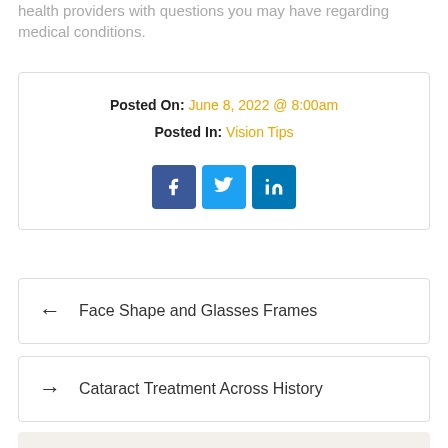health providers with questions you may have regarding medical conditions.
Posted On: June 8, 2022 @ 8:00am
Posted In: Vision Tips
[Figure (other): Social media share icons: Facebook, Twitter, LinkedIn]
← Face Shape and Glasses Frames
→ Cataract Treatment Across History
Topics